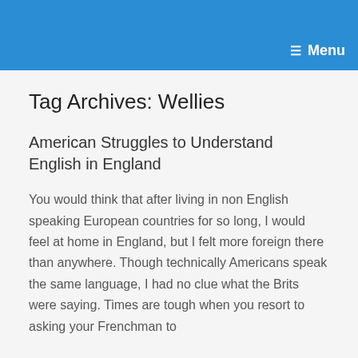Menu
Tag Archives: Wellies
American Struggles to Understand English in England
You would think that after living in non English speaking European countries for so long, I would feel at home in England, but I felt more foreign there than anywhere. Though technically Americans speak the same language, I had no clue what the Brits were saying. Times are tough when you resort to asking your Frenchman to